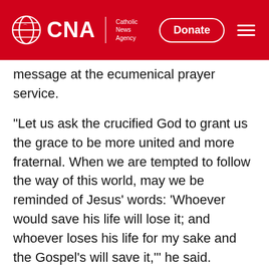CNA | Catholic News Agency
message at the ecumenical prayer service.
"Let us ask the crucified God to grant us the grace to be more united and more fraternal. When we are tempted to follow the way of this world, may we be reminded of Jesus' words: 'Whoever would save his life will lose it; and whoever loses his life for my sake and the Gospel's will save it,'" he said.
Candles were lit in the basilica as the Christians prayed together for peace in Afghanistan, the Democratic Republic of Congo, Iraq, Libya, Nigeria, Central African Republic, Somalia, Syria, Ukraine, Yemen, and the Holy Land.